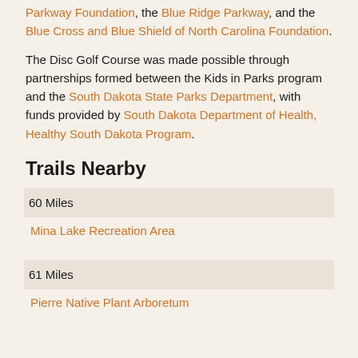Parkway Foundation, the Blue Ridge Parkway, and the Blue Cross and Blue Shield of North Carolina Foundation.
The Disc Golf Course was made possible through partnerships formed between the Kids in Parks program and the South Dakota State Parks Department, with funds provided by South Dakota Department of Health, Healthy South Dakota Program.
Trails Nearby
60 Miles — Mina Lake Recreation Area
61 Miles — Pierre Native Plant Arboretum